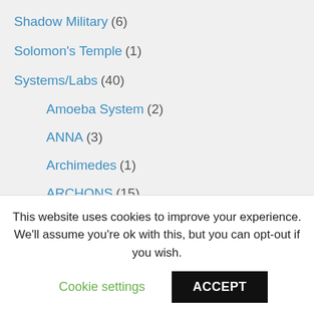Shadow Military (6)
Solomon's Temple (1)
Systems/Labs (40)
Amoeba System (2)
ANNA (3)
Archimedes (1)
ARCHONS (15)
Armistice Program 1972 (1)
ARPANET (1)
Azure (7)
This website uses cookies to improve your experience. We'll assume you're ok with this, but you can opt-out if you wish.
Cookie settings  ACCEPT